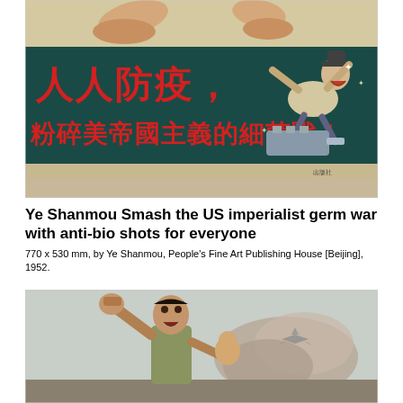[Figure (photo): Chinese propaganda poster from 1952 with dark teal/green background and large red Chinese characters reading '人人防疫，粉碎美帝國主義的細菌戰！' (Everyone prevent epidemic, smash the US imperialist germ war!). Shows a caricature of a Western figure being attacked by insects/germs from a spray device.]
Ye Shanmou Smash the US imperialist germ war with anti-bio shots for everyone
770 x 530 mm, by Ye Shanmou, People's Fine Art Publishing House [Beijing], 1952.
[Figure (photo): Second propaganda poster showing a Chinese figure with raised fist holding a baby, with an aircraft and smoke/explosion in the background. Muted earthy tones.]